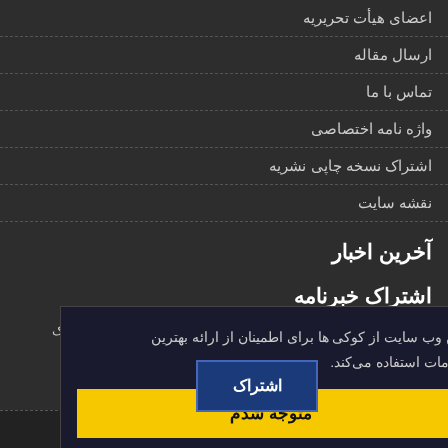اعضای هیأت تحریریه
ارسال مقاله
تماس با ما
واژه نامه اختصاصی
اشتراک نسخه چاپی نشریه
نقشه سایت
آخرین اخبار
اشتراک خبرنامه
برای دریافت اخبار و اطلاعه های مهم نشر به در خبرنامه نشریه مشترک شوید
این وب سایت از کوکی ها برای اطمینان از ارائه بهترین خدمات استفاده می‌کند.
متوجه شدم
اشتراک
نامه مدیریت نشریات علمی. قدرت گرفته از سیناوب